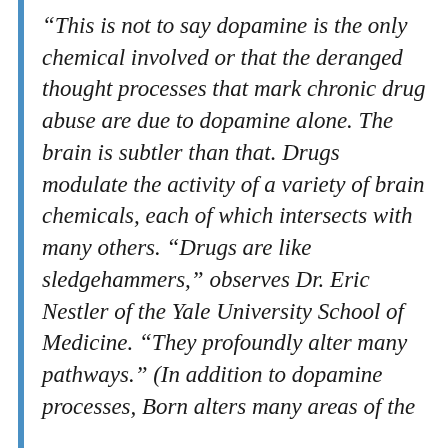“This is not to say dopamine is the only chemical involved or that the deranged thought processes that mark chronic drug abuse are due to dopamine alone. The brain is subtler than that. Drugs modulate the activity of a variety of brain chemicals, each of which intersects with many others. “Drugs are like sledgehammers,” observes Dr. Eric Nestler of the Yale University School of Medicine. “They profoundly alter many pathways.” (In addition to dopamine processes, Born alters many areas of the